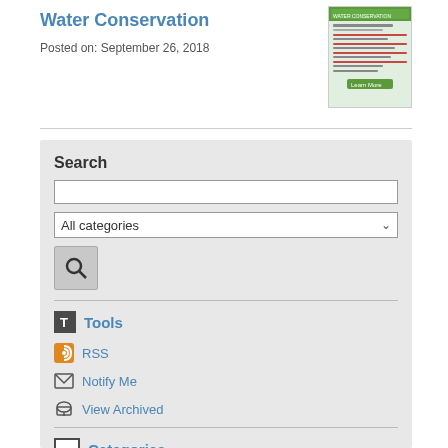Water Conservation
Posted on: September 26, 2018
[Figure (screenshot): Small thumbnail image of a water conservation flyer with green and white design]
Search
All categories (dropdown)
Tools
RSS
Notify Me
View Archived
Categories
All Categories
City News
Parks & Recreation News